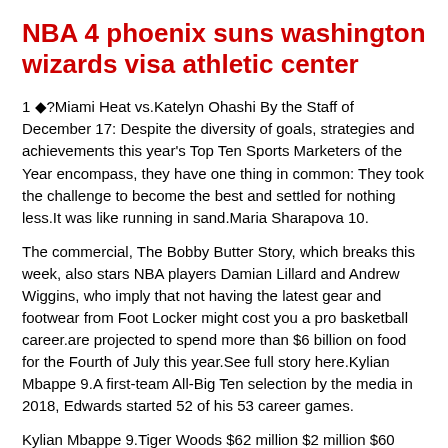NBA 4 phoenix suns washington wizards visa athletic center
1 ◆?Miami Heat vs.Katelyn Ohashi By the Staff of December 17: Despite the diversity of goals, strategies and achievements this year’s Top Ten Sports Marketers of the Year encompass, they have one thing in common: They took the challenge to become the best and settled for nothing less.It was like running in sand.Maria Sharapova 10.
The commercial, The Bobby Butter Story, which breaks this week, also stars NBA players Damian Lillard and Andrew Wiggins, who imply that not having the latest gear and footwear from Foot Locker might cost you a pro basketball career.are projected to spend more than $6 billion on food for the Fourth of July this year.See full story here.Kylian Mbappe 9.A first-team All-Big Ten selection by the media in 2018, Edwards started 52 of his 53 career games.
Kylian Mbappe 9.Tiger Woods $62 million $2 million $60 million Golf 9.Milwaukee Bucks HP Field House, Orlando ESPN 6PM ◆?Sacramento Kings vs.
Single-game tickets for the preseason and regular season will be made available for purchase when the 2019 schedule is announced on a later date.Smith played until 1997 with six teams, including winning two NBA championships with the Houston Rockets on rosters that included Hakeem Olajuwon, Clyde ‘The Glide’ Drexler and Robert Horry.I was 9 years old and on a farm in Ohio growing up, had never heard about Alaska, he said.You want to build teams and individual drivers, but you also want to build Nascar.A: I mean, like I said, it’s football.Lead spokesperson is Kerri Walsh Jennings, three-time gold medal winner in